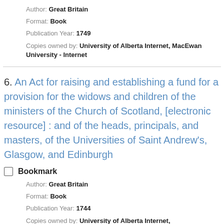Author: Great Britain
Format: Book
Publication Year: 1749
Copies owned by: University of Alberta Internet, MacEwan University - Internet
6. An Act for raising and establishing a fund for a provision for the widows and children of the ministers of the Church of Scotland, [electronic resource] : and of the heads, principals, and masters, of the Universities of Saint Andrew's, Glasgow, and Edinburgh
Bookmark
Author: Great Britain
Format: Book
Publication Year: 1744
Copies owned by: University of Alberta Internet,